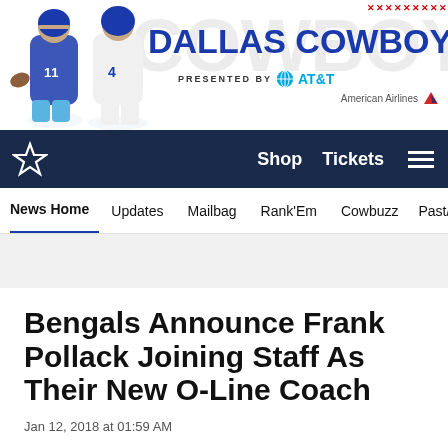[Figure (illustration): Dallas Cowboys website header banner with two football players, 'DALLAS COWBOYS' title in blue, 'PRESENTED BY AT&T' subtitle, and American Airlines logo]
Shop  Tickets
News Home  Updates  Mailbag  Rank'Em  Cowbuzz  Past/Pres
Bengals Announce Frank Pollack Joining Staff As Their New O-Line Coach
Jan 12, 2018 at 01:59 AM